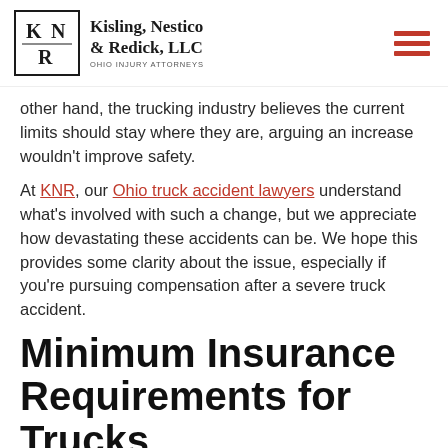Kisling, Nestico & Redick, LLC — Ohio Injury Attorneys
other hand, the trucking industry believes the current limits should stay where they are, arguing an increase wouldn't improve safety.
At KNR, our Ohio truck accident lawyers understand what's involved with such a change, but we appreciate how devastating these accidents can be. We hope this provides some clarity about the issue, especially if you're pursuing compensation after a severe truck accident.
Minimum Insurance Requirements for Trucks
The Federal Motor Carrier Safety Administration